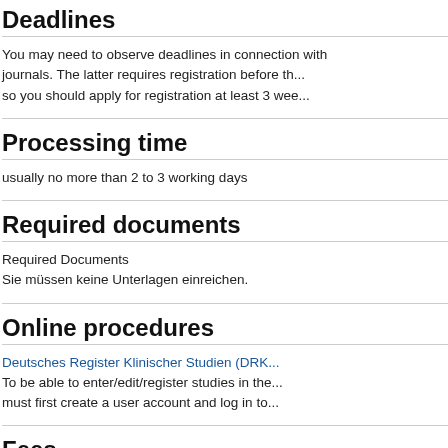Deadlines
You may need to observe deadlines in connection with journals. The latter requires registration before th... so you should apply for registration at least 3 wee...
Processing time
usually no more than 2 to 3 working days
Required documents
Required Documents
Sie müssen keine Unterlagen einreichen.
Online procedures
Deutsches Register Klinischer Studien (DRK...
To be able to enter/edit/register studies in the... must first create a user account and log in to...
Fees
There are no costs for you.
Legal bases
Erlass Bundesministeriums für Gesundheit v... des Deutschen Registers Klinischer Studien...
§ 15 Absatz 3 Berufsordnung für die in Deu...